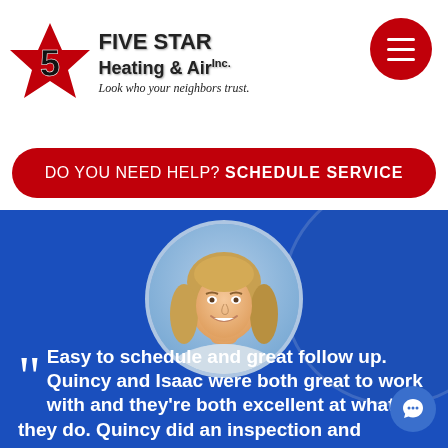[Figure (logo): Five Star Heating & Air Inc. logo with red star, number 5, bold company name text, and tagline 'Look who your neighbors trust.']
[Figure (other): Red circular hamburger/navigation menu button with three white horizontal lines]
DO YOU NEED HELP? SCHEDULE SERVICE
[Figure (photo): Circular portrait photo of a smiling woman with blonde hair on a blue background]
Easy to schedule and great follow up. Quincy and Isaac were both great to work with and they're both excellent at what they do. Quincy did an inspection and